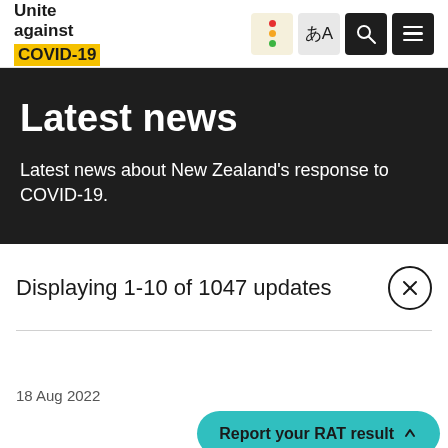Unite against COVID-19
Latest news
Latest news about New Zealand's response to COVID-19.
Displaying 1-10 of 1047 updates
Report your RAT result
18 Aug 2022